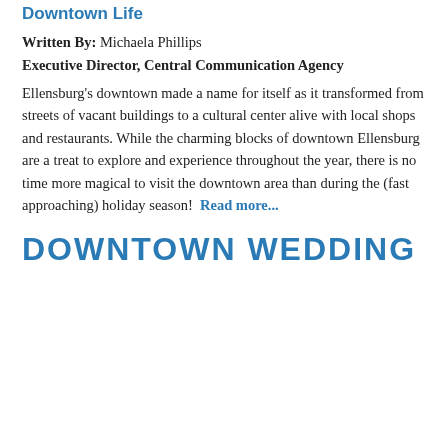Downtown Life
Written By: Michaela Phillips
Executive Director, Central Communication Agency
Ellensburg's downtown made a name for itself as it transformed from streets of vacant buildings to a cultural center alive with local shops and restaurants. While the charming blocks of downtown Ellensburg are a treat to explore and experience throughout the year, there is no time more magical to visit the downtown area than during the (fast approaching) holiday season!  Read more...
DOWNTOWN WEDDING